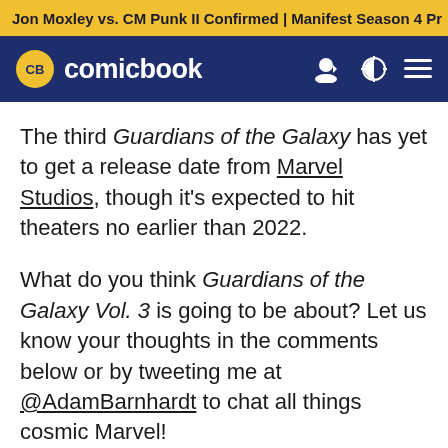Jon Moxley vs. CM Punk II Confirmed | Manifest Season 4 Pr
[Figure (logo): ComicBook.com logo with CB badge and navigation icons]
The third Guardians of the Galaxy has yet to get a release date from Marvel Studios, though it's expected to hit theaters no earlier than 2022.
What do you think Guardians of the Galaxy Vol. 3 is going to be about? Let us know your thoughts in the comments below or by tweeting me at @AdamBarnhardt to chat all things cosmic Marvel!